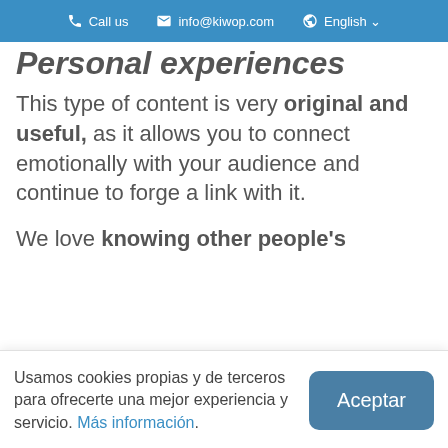Call us  info@kiwop.com  English
Personal experiences
This type of content is very original and useful, as it allows you to connect emotionally with your audience and continue to forge a link with it.
We love knowing other people's
Usamos cookies propias y de terceros para ofrecerte una mejor experiencia y servicio. Más información.